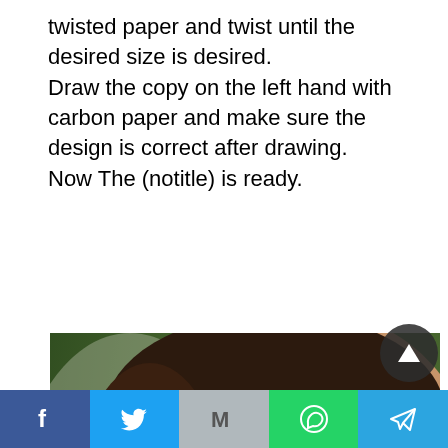twisted paper and twist until the desired size is desired.
Draw the copy on the left hand with carbon paper and make sure the design is correct after drawing.
Now The (notitle) is ready.
[Figure (photo): Close-up photo of a South Asian woman wearing traditional red embroidered clothing with gold and green floral embroidery, gold jewelry and earrings, and dark lipstick. Green blurred background.]
Facebook | Twitter | Gmail | WhatsApp | Telegram share toolbar